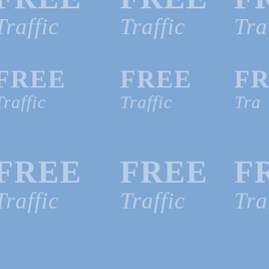[Figure (illustration): A blue background watermark page with the repeated text 'FREE Traffic' arranged in a tiled diagonal pattern across the entire page. The text is white/light colored with slight transparency against a medium blue background.]